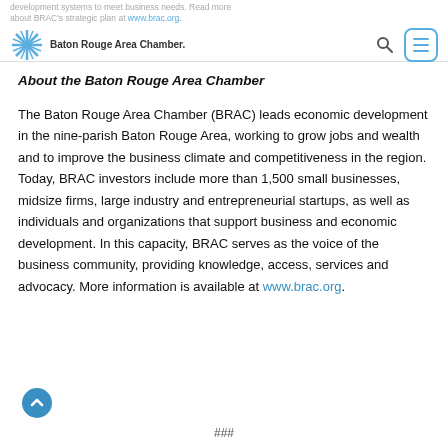development systems to meet business needs. Read more about BRAC's strategic plan at www.brac.org. Baton Rouge Area Chamber.
About the Baton Rouge Area Chamber
The Baton Rouge Area Chamber (BRAC) leads economic development in the nine-parish Baton Rouge Area, working to grow jobs and wealth and to improve the business climate and competitiveness in the region. Today, BRAC investors include more than 1,500 small businesses, midsize firms, large industry and entrepreneurial startups, as well as individuals and organizations that support business and economic development. In this capacity, BRAC serves as the voice of the business community, providing knowledge, access, services and advocacy. More information is available at www.brac.org.
###